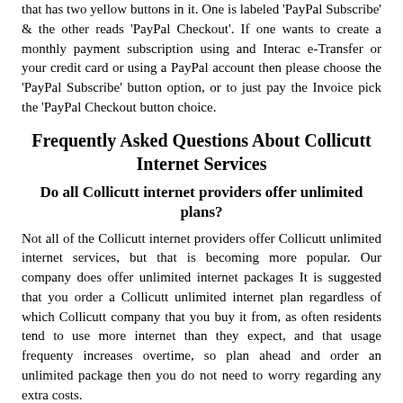that has two yellow buttons in it. One is labeled 'PayPal Subscribe' & the other reads 'PayPal Checkout'. If one wants to create a monthly payment subscription using and Interac e-Transfer or your credit card or using a PayPal account then please choose the 'PayPal Subscribe' button option, or to just pay the Invoice pick the 'PayPal Checkout button choice.
Frequently Asked Questions About Collicutt Internet Services
Do all Collicutt internet providers offer unlimited plans?
Not all of the Collicutt internet providers offer Collicutt unlimited internet services, but that is becoming more popular. Our company does offer unlimited internet packages It is suggested that you order a Collicutt unlimited internet plan regardless of which Collicutt company that you buy it from, as often residents tend to use more internet than they expect, and that usage frequenty increases overtime, so plan ahead and order an unlimited package then you do not need to worry regarding any extra costs.
Do Collicutt alternative Internet service providers offer